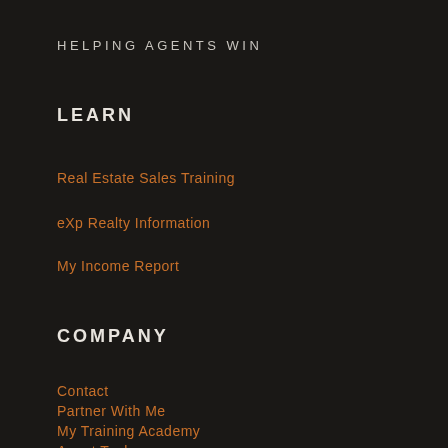HELPING AGENTS WIN
LEARN
Real Estate Sales Training
eXp Realty Information
My Income Report
COMPANY
Contact
Partner With Me
My Training Academy
Agent Tools